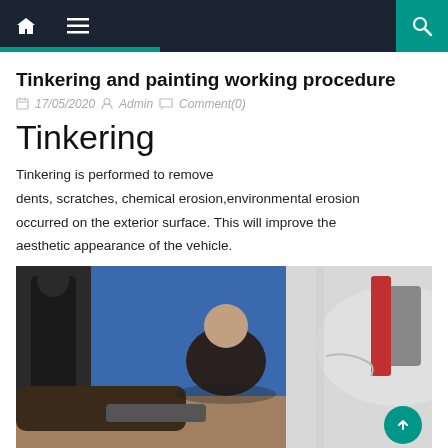Tinkering and painting working procedure — website navigation bar
Tinkering and painting working procedure
17/05/2020  Admin  Comment(0)
Tinkering
Tinkering is performed to remove dents, scratches, chemical erosion,environmental erosion occurred on the exterior surface. This will improve the aesthetic appearance of the vehicle.
[Figure (photo): Worker using a tool to repair/fix dents on a white vehicle hood in an auto body shop with a blue wall background]